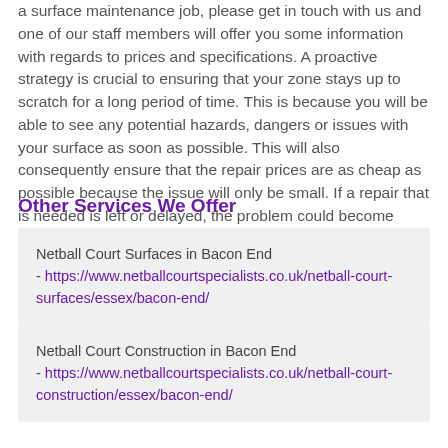a surface maintenance job, please get in touch with us and one of our staff members will offer you some information with regards to prices and specifications. A proactive strategy is crucial to ensuring that your zone stays up to scratch for a long period of time. This is because you will be able to see any potential hazards, dangers or issues with your surface as soon as possible. This will also consequently ensure that the repair prices are as cheap as possible because the issue will only be small. If a repair that is needed is left or delayed, the problem could become bigger and therefore cost you more.
Other Services We Offer
Netball Court Surfaces in Bacon End - https://www.netballcourtspecialists.co.uk/netball-court-surfaces/essex/bacon-end/
Netball Court Construction in Bacon End - https://www.netballcourtspecialists.co.uk/netball-court-construction/essex/bacon-end/